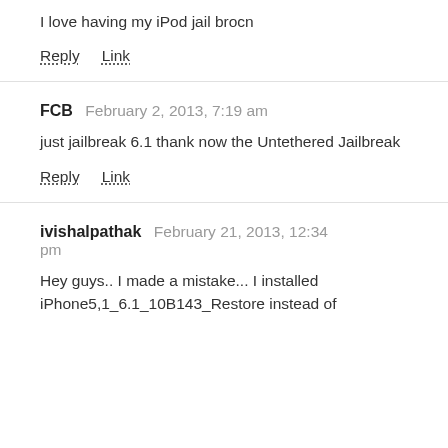I love having my iPod jail brocn
Reply   Link
FCB  February 2, 2013, 7:19 am
just jailbreak 6.1 thank now the Untethered Jailbreak
Reply   Link
ivishalpathak  February 21, 2013, 12:34 pm
Hey guys.. I made a mistake... I installed iPhone5,1_6.1_10B143_Restore instead of